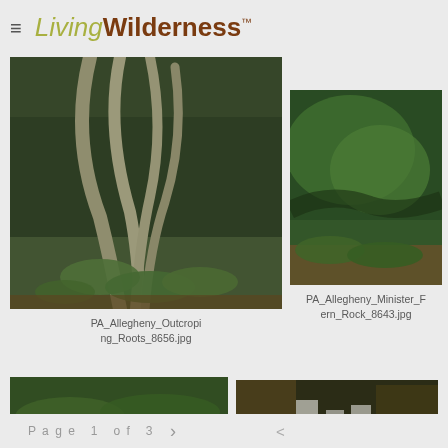LivingWilderness™
[Figure (photo): Forest outcropping with curved tree roots and ferns at base]
PA_Allegheny_Outcropping_Roots_8656.jpg
[Figure (photo): Moss-covered rock with ferns and leaf litter]
PA_Allegheny_Minister_Fern_Rock_8643.jpg
[Figure (photo): Moss and fern ground cover close-up (partial, bottom of page)]
[Figure (photo): Waterfall cascading over rocks in autumn forest (partial, bottom of page)]
Page 1 of 3